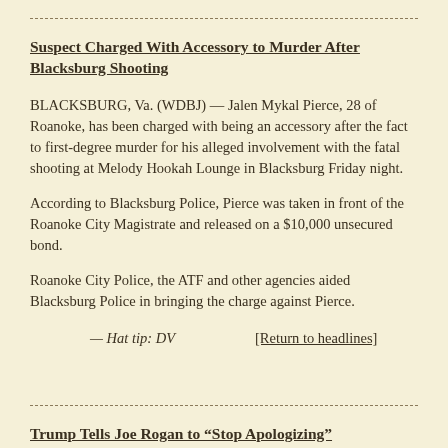Suspect Charged With Accessory to Murder After Blacksburg Shooting
BLACKSBURG, Va. (WDBJ) — Jalen Mykal Pierce, 28 of Roanoke, has been charged with being an accessory after the fact to first-degree murder for his alleged involvement with the fatal shooting at Melody Hookah Lounge in Blacksburg Friday night.
According to Blacksburg Police, Pierce was taken in front of the Roanoke City Magistrate and released on a $10,000 unsecured bond.
Roanoke City Police, the ATF and other agencies aided Blacksburg Police in bringing the charge against Pierce.
— Hat tip: DV        [Return to headlines]
Trump Tells Joe Rogan to “Stop Apologizing”
Donald Trump has told Joe Rogan that he needs to “stop